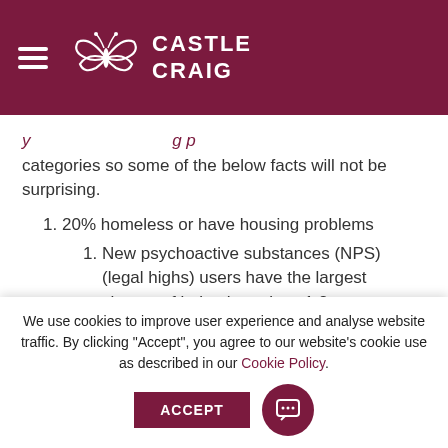Castle Craig
categories so some of the below facts will not be surprising.
20% homeless or have housing problems
New psychoactive substances (NPS) (legal highs) users have the largest chance of being homeless 1:2
60% suffer from a mental health issue (dual
We use cookies to improve user experience and analyse website traffic. By clicking "Accept", you agree to our website's cookie use as described in our Cookie Policy.